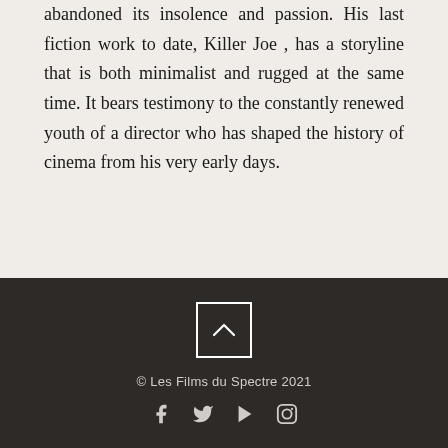abandoned its insolence and passion. His last fiction work to date, Killer Joe , has a storyline that is both minimalist and rugged at the same time. It bears testimony to the constantly renewed youth of a director who has shaped the history of cinema from his very early days.
[Figure (other): Back to top button: a square with a chevron/caret pointing upward, white on dark background]
© Les Films du Spectre 2021
[Figure (other): Social media icons row: Facebook, Twitter, YouTube (play button), Instagram]